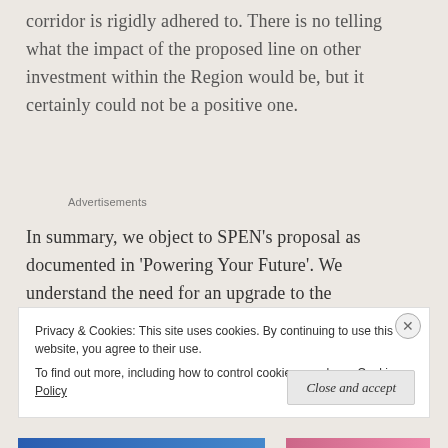corridor is rigidly adhered to. There is no telling what the impact of the proposed line on other investment within the Region would be, but it certainly could not be a positive one.
Advertisements
In summary, we object to SPEN's proposal as documented in 'Powering Your Future'. We understand the need for an upgrade to the infrastructure within
Privacy & Cookies: This site uses cookies. By continuing to use this website, you agree to their use.
To find out more, including how to control cookies, see here: Cookie Policy
Close and accept